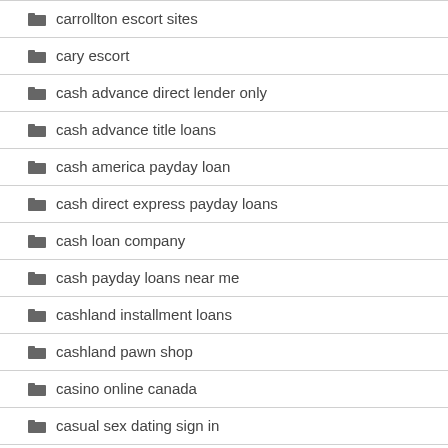carrollton escort sites
cary escort
cash advance direct lender only
cash advance title loans
cash america payday loan
cash direct express payday loans
cash loan company
cash payday loans near me
cashland installment loans
cashland pawn shop
casino online canada
casual sex dating sign in